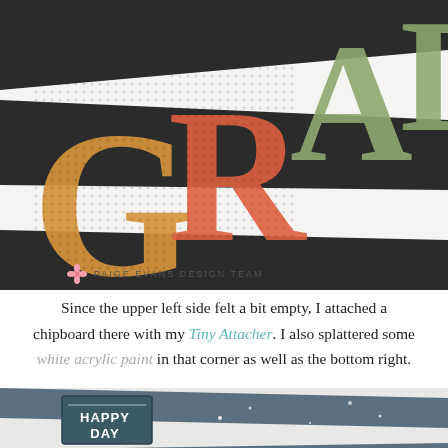[Figure (photo): Close-up photo of a craft/scrapbooking project showing large textured chipboard letters spelling 'GRAD' (partially visible) in yellow, orange/red, and sage green colors on a black and white diagonal striped background.]
PAIGE EVANS DESIGN TEAM
Since the upper left side felt a bit empty, I attached a chipboard there with my Tiny Attacher. I also splattered some white acrylic paint in that corner as well as the bottom right.
[Figure (photo): Partial close-up photo of a craft project showing a dark teal/navy rectangular chipboard embellishment reading 'HAPPY DAY' on a diagonal striped background with white paint splatters.]